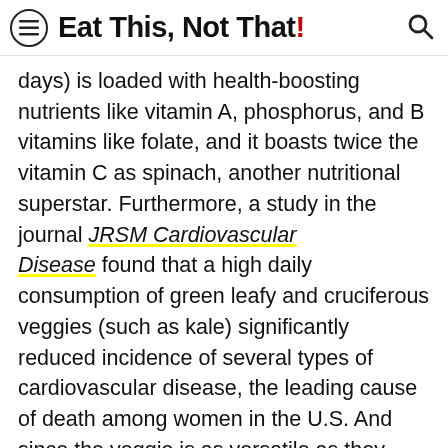Eat This, Not That!
days) is loaded with health-boosting nutrients like vitamin A, phosphorus, and B vitamins like folate, and it boasts twice the vitamin C as spinach, another nutritional superstar. Furthermore, a study in the journal JRSM Cardiovascular Disease found that a high daily consumption of green leafy and cruciferous veggies (such as kale) significantly reduced incidence of several types of cardiovascular disease, the leading cause of death among women in the U.S. And since the veggie is as versatile as they come, feel free to add some kale to an array of meals ranging from egg dishes to tacos, and drinks such as juices and smoothies.